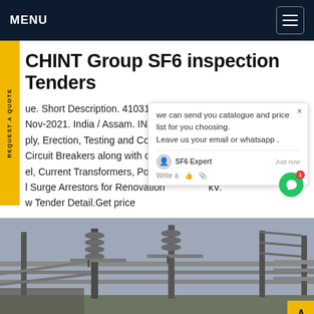MENU
CHINT Group SF6 inspection Tenders
ue. Short Description. 4103172110I0 021. Nov-2021. India / Assam. INR 1204: r For ply, Erection, Testing and Comm 3. Circuit Breakers along with cont y el, Current Transformers, Po mers l Surge Arrestors for Renovation job at 33/11 kV. w Tender Detail.Get price
we can send you catalogue and price list for you choosing. Leave us your email or whatsapp .
[Figure (photo): Electrical substation with high-voltage equipment, insulators, circuit breakers and steel structures]